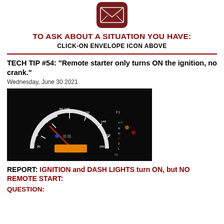[Figure (illustration): Envelope icon on dark red rounded rectangle background]
TO ASK ABOUT A SITUATION YOU HAVE:
CLICK-ON ENVELOPE ICON ABOVE
TECH TIP #54: "Remote starter only turns ON the ignition, no crank."
Wednesday, June 30 2021
[Figure (photo): Car dashboard instrument cluster showing ignition on with dash lights illuminated including speedometer and warning lights, orange display panel visible]
REPORT: IGNITION and DASH LIGHTS turn ON, but NO REMOTE START:
QUESTION: